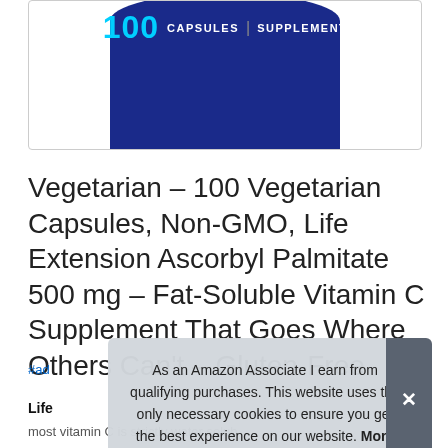[Figure (photo): Blue supplement bottle top visible with '100 CAPSULES | SUPPLEMENT' text in white and cyan on dark blue background, cropped at neck of bottle, inside a rounded rectangle border.]
Vegetarian – 100 Vegetarian Capsules, Non-GMO, Life Extension Ascorbyl Palmitate 500 mg – Fat-Soluble Vitamin C Supplement That Goes Where Others Can't – Gluten-Free
#ad
Life
most vitamin C is strictly water soluble. Our ascorbyl
As an Amazon Associate I earn from qualifying purchases. This website uses the only necessary cookies to ensure you get the best experience on our website. More information